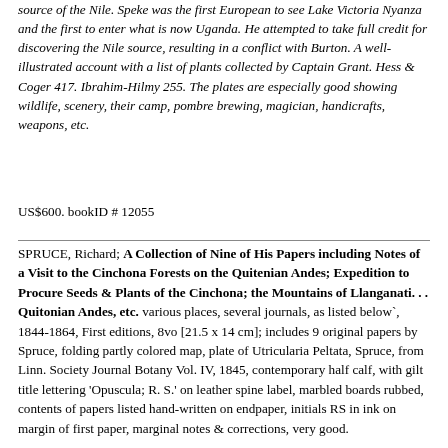source of the Nile. Speke was the first European to see Lake Victoria Nyanza and the first to enter what is now Uganda. He attempted to take full credit for discovering the Nile source, resulting in a conflict with Burton. A well-illustrated account with a list of plants collected by Captain Grant. Hess & Coger 417. Ibrahim-Hilmy 255. The plates are especially good showing wildlife, scenery, their camp, pombre brewing, magician, handicrafts, weapons, etc.
US$600. bookID # 12055
SPRUCE, Richard; A Collection of Nine of His Papers including Notes of a Visit to the Cinchona Forests on the Quitenian Andes; Expedition to Procure Seeds & Plants of the Cinchona; the Mountains of Llanganati. . . Quitonian Andes, etc. various places, several journals, as listed below`, 1844-1864, First editions, 8vo [21.5 x 14 cm]; includes 9 original papers by Spruce, folding partly colored map, plate of Utricularia Peltata, Spruce, from Linn. Society Journal Botany Vol. IV, 1845, contemporary half calf, with gilt title lettering 'Opuscula; R. S.' on leather spine label, marbled boards rubbed, contents of papers listed hand-written on endpaper, initials RS in ink on margin of first paper, marginal notes & corrections, very good.